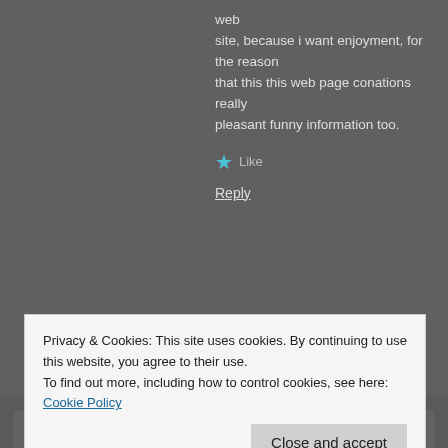web site, because i want enjoyment, for the reason that this this web page conations really pleasant funny information too.
Like
Reply
sex offenders says:
May 5, 2015 at 12:27 PM
Thank you for the auspicious writeup. It in fact was a entertainment account it. Glance advanced to find delicious more...
Privacy & Cookies: This site uses cookies. By continuing to use this website, you agree to their use.
To find out more, including how to control cookies, see here: Cookie Policy
Close and accept
Reply